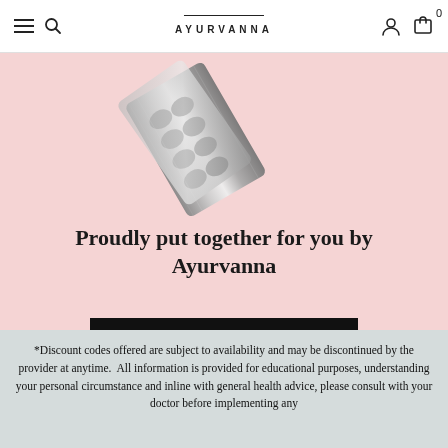AYURVANNA
[Figure (photo): Product image showing silver/metallic skincare packaging on a pink background]
Proudly put together for you by Ayurvanna
SHOP AYURVANNA SKINCARE
*Discount codes offered are subject to availability and may be discontinued by the provider at anytime.  All information is provided for educational purposes, understanding your personal circumstance and inline with general health advice, please consult with your doctor before implementing any